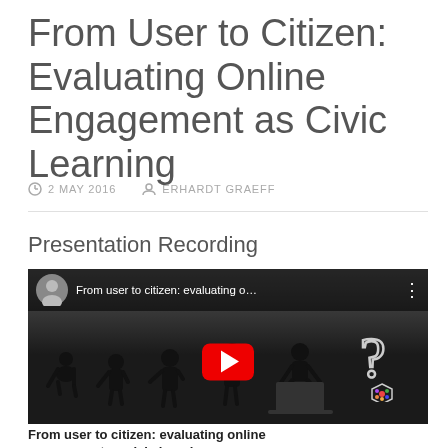From User to Citizen: Evaluating Online Engagement as Civic Learning
2 MAY 2016   ERHARDT GRAEFF
Presentation Recording
[Figure (screenshot): YouTube video thumbnail for 'From user to citizen: evaluating online engagement as civic learning' showing evolution of man silhouettes progressing from ape to person using laptop, with a YouTube play button in the center and a question mark on the right side.]
From user to citizen: evaluating online engagement as civic learning